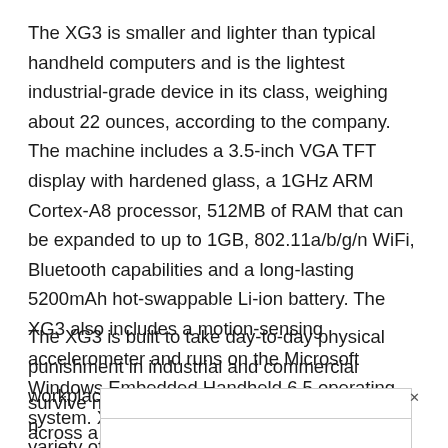The XG3 is smaller and lighter than typical handheld computers and is the lightest industrial-grade device in its class, weighing about 22 ounces, according to the company. The machine includes a 3.5-inch VGA TFT display with hardened glass, a 1GHz ARM Cortex-A8 processor, 512MB of RAM that can be expanded to up to 1GB, 802.11a/b/g/n WiFi, Bluetooth capabilities and a long-lasting 5200mAh hot-swappable Li-ion battery. The XG3 also includes a motion-sensing accelerometer and runs on the Microsoft Windows Embedded Handheld 6.5 operating system. XG3 buyers can also choose from a variety of keypad designs to meet their exact needs, according to Janam.
The XG3 is built to take day-to-day physical punishment in industrial and commercial workplaces, with the ability to survive [obscured]ng across a[obscured]es F to